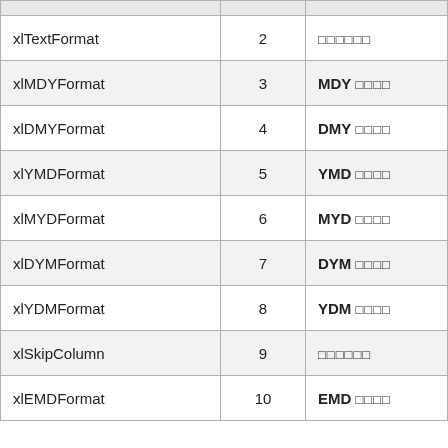| xlTextFormat | 2 | □□□□□□ |
| xlMDYFormat | 3 | MDY □□□□ |
| xlDMYFormat | 4 | DMY □□□□ |
| xlYMDFormat | 5 | YMD □□□□ |
| xlMYDFormat | 6 | MYD □□□□ |
| xlDYMFormat | 7 | DYM □□□□ |
| xlYDMFormat | 8 | YDM □□□□ |
| xlSkipColumn | 9 | □□□□□□ |
| xlEMDFormat | 10 | EMD □□□□ |